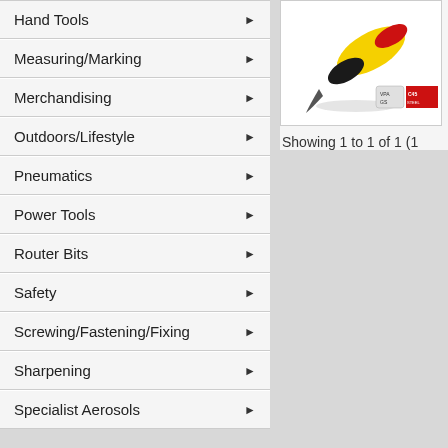Hand Tools
Measuring/Marking
Merchandising
Outdoors/Lifestyle
Pneumatics
Power Tools
Router Bits
Safety
Screwing/Fastening/Fixing
Sharpening
Specialist Aerosols
[Figure (photo): Product image showing a tool with yellow and black/red handle with VPA GS and C45 STEEL certification badges]
Showing 1 to 1 of 1 (1